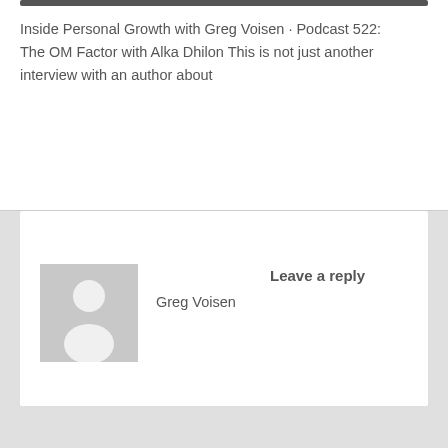[Figure (other): Dark horizontal bar at top of white section]
Inside Personal Growth with Greg Voisen · Podcast 522: The OM Factor with Alka Dhilon This is not just another interview with an author about
[Figure (illustration): Generic user avatar placeholder — gray square with white silhouette of a person]
Greg Voisen
Leave a reply